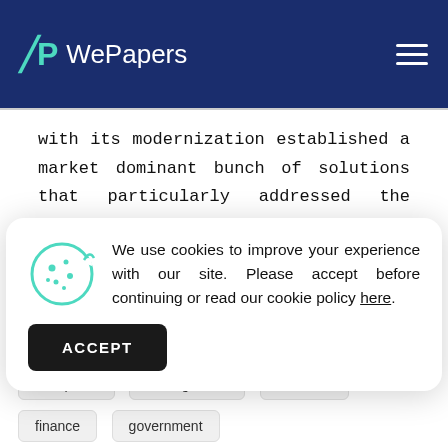WePapers
with its modernization established a market dominant bunch of solutions that particularly addressed the contemporary challenges of public transport sector. Majority of the European
[Figure (other): Cookie consent modal with cookie icon, text about cookies policy, and ACCEPT button]
company
compensation
money
workplace
management
business
finance
government